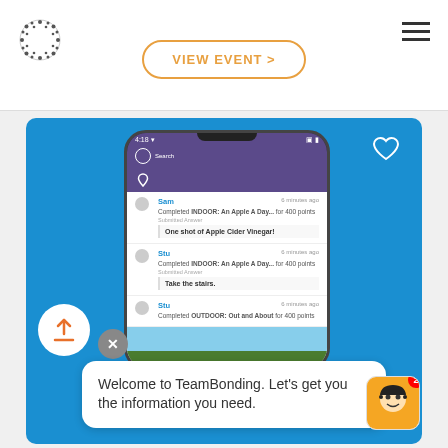[Figure (screenshot): Website header with circular gear logo on left, VIEW EVENT > button in center with orange border, hamburger menu icon on right]
[Figure (screenshot): Mobile app screenshot on blue background showing a social feed with user Sam completing INDOOR: An Apple A Day for 400 points with answer 'One shot of Apple Cider Vinegar!', user Stu completing same challenge with answer 'Take the stairs', and Stu completing OUTDOOR: Out and About for 400 points. A chat bubble overlay reads 'Welcome to TeamBonding. Let's get you the information you need.']